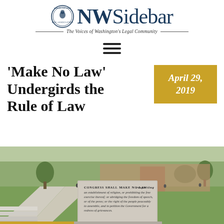[Figure (logo): NWSidebar logo with circular seal and text 'NWSidebar' and tagline 'The Voices of Washington's Legal Community']
[Figure (other): Hamburger menu icon (three horizontal bars)]
'Make No Law' Undergirds the Rule of Law
April 29, 2019
[Figure (photo): Outdoor photo of a park or plaza with green grass, walkways, trees, and a stone monument inscribed with the First Amendment text beginning 'CONGRESS SHALL MAKE NO LAW respecting an establishment of religion, or prohibiting the free exercise thereof; or abridging the freedom of speech, or of the press; or the right of the people peaceably to assemble, and to petition the Government for a redress of grievances.']